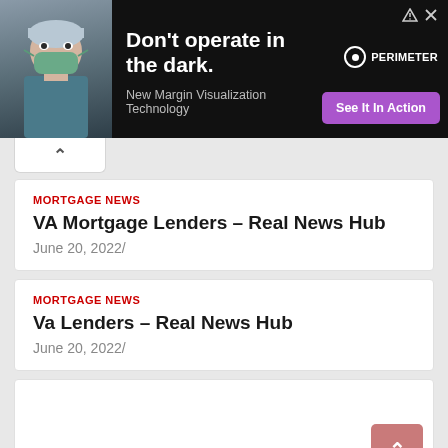[Figure (photo): Advertisement banner with dark background. Shows a doctor in surgical mask and cap on the left. Text reads: 'Don't operate in the dark.' with subtext 'New Margin Visualization Technology'. A purple 'See It In Action' button and PERIMETER logo appear on the right.]
MORTGAGE NEWS
VA Mortgage Lenders – Real News Hub
June 20, 2022/
MORTGAGE NEWS
Va Lenders – Real News Hub
June 20, 2022/